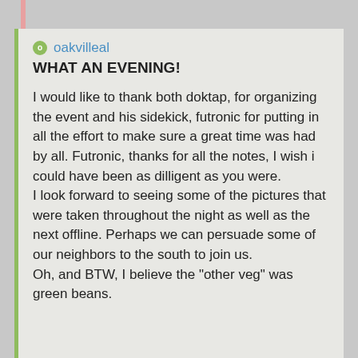oakvilleal
WHAT AN EVENING!
I would like to thank both doktap, for organizing the event and his sidekick, futronic for putting in all the effort to make sure a great time was had by all. Futronic, thanks for all the notes, I wish i could have been as dilligent as you were.
I look forward to seeing some of the pictures that were taken throughout the night as well as the next offline. Perhaps we can persuade some of our neighbors to the south to join us.
Oh, and BTW, I believe the "other veg" was green beans.